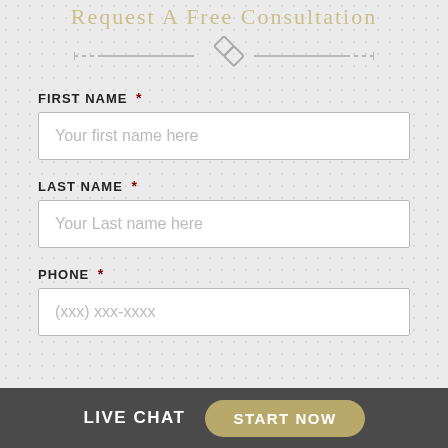Request A Free Consultation
[Figure (illustration): Decorative divider with diamond/chain link icon and dashed lines on either side]
FIRST NAME *
Your first name here
LAST NAME *
Your Last name here
PHONE *
(xxx) xxx-xxxx
LIVE CHAT   START NOW